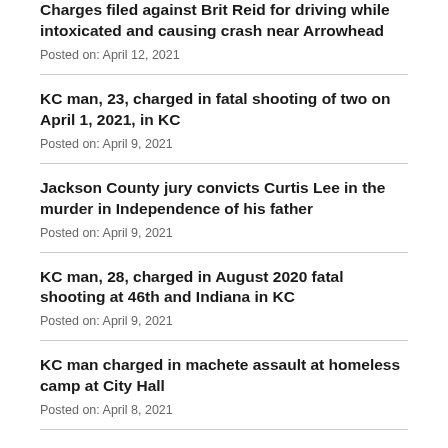Charges filed against Brit Reid for driving while intoxicated and causing crash near Arrowhead
Posted on: April 12, 2021
KC man, 23, charged in fatal shooting of two on April 1, 2021, in KC
Posted on: April 9, 2021
Jackson County jury convicts Curtis Lee in the murder in Independence of his father
Posted on: April 9, 2021
KC man, 28, charged in August 2020 fatal shooting at 46th and Indiana in KC
Posted on: April 9, 2021
KC man charged in machete assault at homeless camp at City Hall
Posted on: April 8, 2021
Jackson County jury convicts man of Murder 1st